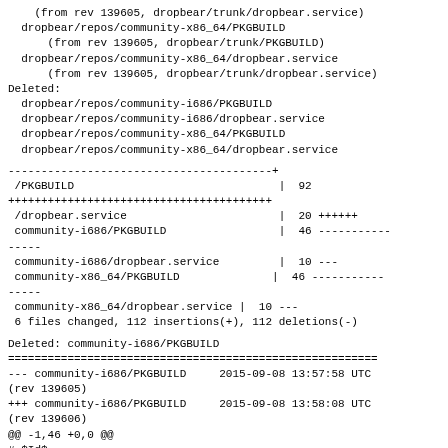(from rev 139605, dropbear/trunk/dropbear.service)
  dropbear/repos/community-x86_64/PKGBUILD
      (from rev 139605, dropbear/trunk/PKGBUILD)
  dropbear/repos/community-x86_64/dropbear.service
      (from rev 139605, dropbear/trunk/dropbear.service)
Deleted:
  dropbear/repos/community-i686/PKGBUILD
  dropbear/repos/community-i686/dropbear.service
  dropbear/repos/community-x86_64/PKGBUILD
  dropbear/repos/community-x86_64/dropbear.service
----------------------------------------+
 /PKGBUILD                               |  92
++++++++++++++++++++++++++++++++++++++++
 /dropbear.service                       |  20 ++++++
 community-i686/PKGBUILD                 |  46 -----------
-----
 community-i686/dropbear.service         |  10 ---
 community-x86_64/PKGBUILD              |  46 -----------
-----
 community-x86_64/dropbear.service |  10 ---
 6 files changed, 112 insertions(+), 112 deletions(-)
Deleted: community-i686/PKGBUILD
========================================================
--- community-i686/PKGBUILD     2015-09-08 13:57:58 UTC
(rev 139605)
+++ community-i686/PKGBUILD     2015-09-08 13:58:08 UTC
(rev 139606)
@@ -1,46 +0,0 @@
 # $Id$